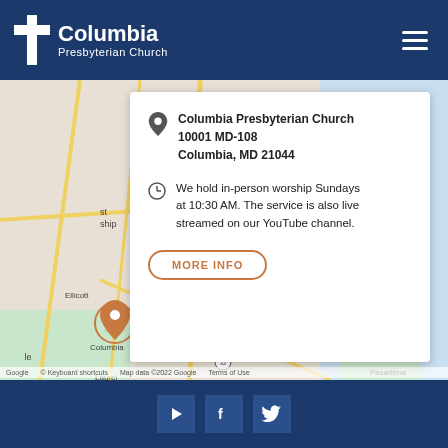Columbia Presbyterian Church
[Figure (map): Google Maps showing area around Columbia, MD with a location pin near Ellicott City / Columbia. Labels visible include Randallstown, Parkville, Ellicott, Columbia, Laurel, Pasadena, and route numbers 83, 45, 70, 95, 97, 150, 32.]
Columbia Presbyterian Church
10001 MD-108
Columbia, MD 21044
We hold in-person worship Sundays at 10:30 AM. The service is also live streamed on our YouTube channel.
MORE INFO
Keyboard shortcuts  Map data ©2022 Google  Terms of Use
[Figure (logo): YouTube play button icon, Facebook icon, Twitter bird icon in white on dark blue background]